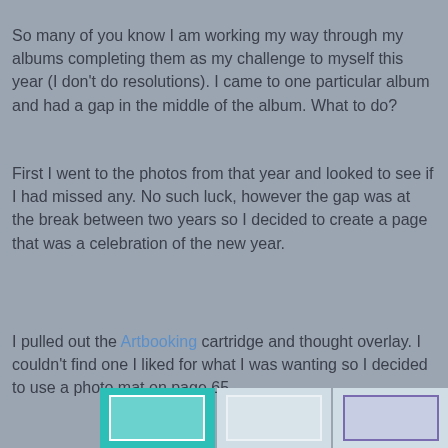So many of you know I am working my way through my albums completing them as my challenge to myself this year (I don't do resolutions). I came to one particular album and had a gap in the middle of the album.  What to do?
First I went to the photos from that year and looked to see if I had missed any.  No such luck, however the gap was at the break between two years so I decided to create a page that was a celebration of the new year.
I pulled out the Artbooking cartridge and thought overlay.  I couldn't find one I liked for what I was wanting so I decided to use a photo mat on page 65.
[Figure (photo): Row of three scrapbooking cartridge or album page thumbnail images partially visible at the bottom of the page]